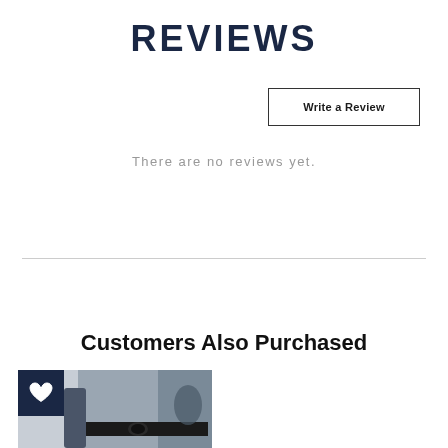REVIEWS
Write a Review
There are no reviews yet.
Customers Also Purchased
[Figure (photo): Product image showing a person wearing a grey long-sleeve compression shirt with black belt, with a dark navy heart/wishlist icon overlay in the top-left corner]